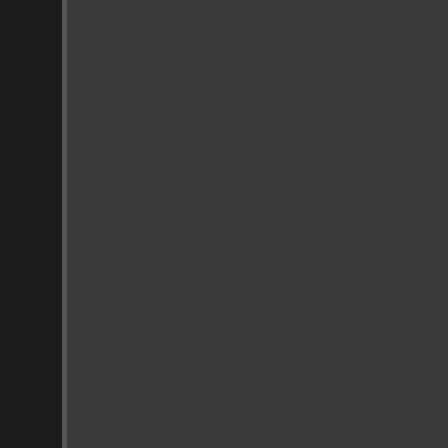therapy. This two part process is reduced chance at relapse than wi
Residential, as well as outpatient t problems from ecstasy abuse. The correlating the appropriate treatme gaining ground as a positive appro approach provides rewards for re option can help the individual wh society with healthy activities that p
Heroin Abuse Help, Paradise, Uta
Heroin abuse help is often neces Heroin is a highly addictive subst regular use. Because mild withdra their "sickness" is actually withdra can be very serious as heroin ab havoc to their work, money, relatio
The first step to help an individual the drug itself and help them co There are many steps that follow t treatment program will go through importance on the road of heroin for heroin abuse. The knowledge everyday life to truly be effective.
Marijuana Abuse Help, Paradise,
There are many individuals who fi order to help yourself or someone using marijuana is understood. Th often helpful to identify the reas providing ideas of how to achieve example, some people abuse mar relaxing without smoking marijua enhance conversation and social years of smoking, the quality of re